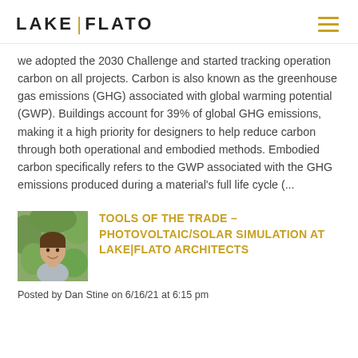LAKE | FLATO
we adopted the 2030 Challenge and started tracking operation carbon on all projects. Carbon is also known as the greenhouse gas emissions (GHG) associated with global warming potential (GWP). Buildings account for 39% of global GHG emissions, making it a high priority for designers to help reduce carbon through both operational and embodied methods. Embodied carbon specifically refers to the GWP associated with the GHG emissions produced during a material's full life cycle (...
[Figure (photo): Headshot of a man outdoors, green background]
TOOLS OF THE TRADE – PHOTOVOLTAIC/SOLAR SIMULATION AT LAKE|FLATO ARCHITECTS
Posted by Dan Stine on 6/16/21 at 6:15 pm